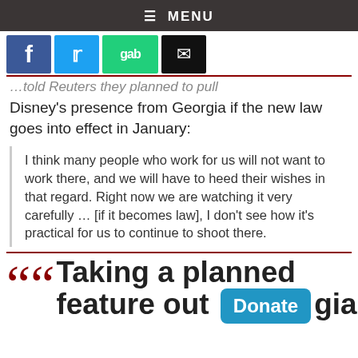≡ MENU
[Figure (other): Social sharing buttons: Facebook (blue), Twitter (blue bird), Gab (green), Email (black envelope)]
...told Reuters they planned to pull Disney's presence from Georgia if the new law goes into effect in January:
I think many people who work for us will not want to work there, and we will have to heed their wishes in that regard. Right now we are watching it very carefully ... [if it becomes law], I don't see how it's practical for us to continue to shoot there.
Taking a planned feature out [of] Georgia